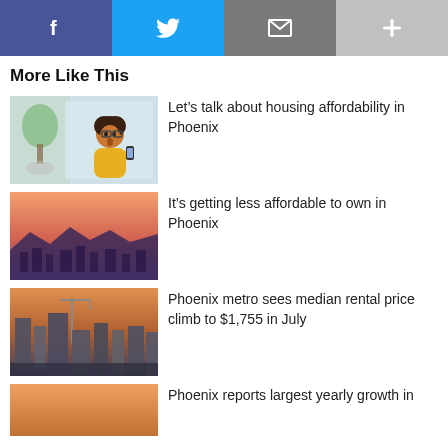[Figure (other): Social share bar with Facebook, Twitter, Email, and plus buttons]
More Like This
[Figure (photo): Woman in yellow sweater looking shocked at her phone]
Let’s talk about housing affordability in Phoenix
[Figure (photo): Aerial view of Phoenix skyline at sunset with pink sky]
It’s getting less affordable to own in Phoenix
[Figure (photo): Phoenix downtown buildings at dusk]
Phoenix metro sees median rental price climb to $1,755 in July
[Figure (photo): Partial thumbnail at bottom of page]
Phoenix reports largest yearly growth in